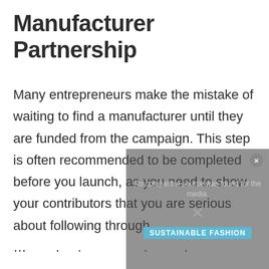Manufacturer Partnership
Many entrepreneurs make the mistake of waiting to find a manufacturer until they are funded from the campaign. This step is often recommended to be completed before you launch, as you need to show your contributors that you are serious about following through ...
[Figure (other): Video overlay panel showing 'No compatible source was found for the media.' message with a close button (×), a large × symbol in the center, and a teal banner at the bottom reading 'SUSTAINABLE FASHION']